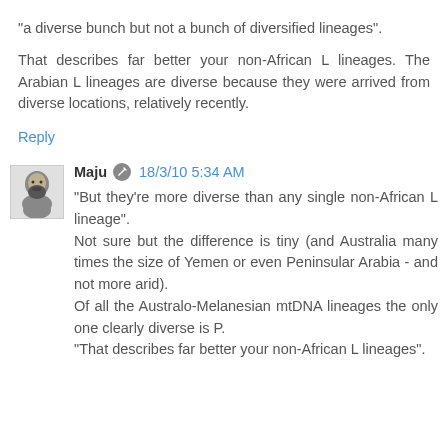"a diverse bunch but not a bunch of diversified lineages".
That describes far better your non-African L lineages. The Arabian L lineages are diverse because they were arrived from diverse locations, relatively recently.
Reply
Maju 18/3/10 5:34 AM
"But they're more diverse than any single non-African L lineage".
Not sure but the difference is tiny (and Australia many times the size of Yemen or even Peninsular Arabia - and not more arid).
Of all the Australo-Melanesian mtDNA lineages the only one clearly diverse is P.
"That describes far better your non-African L lineages".